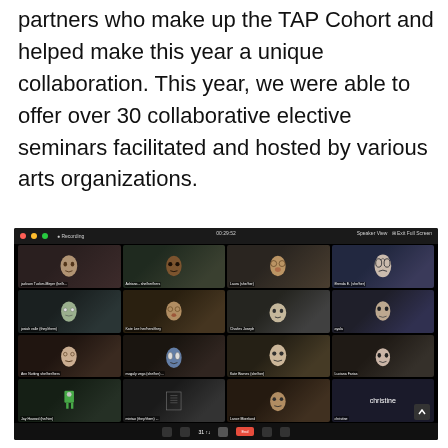partners who make up the TAP Cohort and helped make this year a unique collaboration. This year, we were able to offer over 30 collaborative elective seminars facilitated and hosted by various arts organizations.
[Figure (screenshot): A Zoom video call screenshot showing approximately 16 participants in a grid view. Many participants are holding up or showing mask-related artworks (painted faces, masks, drawings). Participant name labels are visible at the bottom of each tile. The Zoom interface shows recording indicator, time display, speaker view option, and bottom toolbar with meeting controls.]